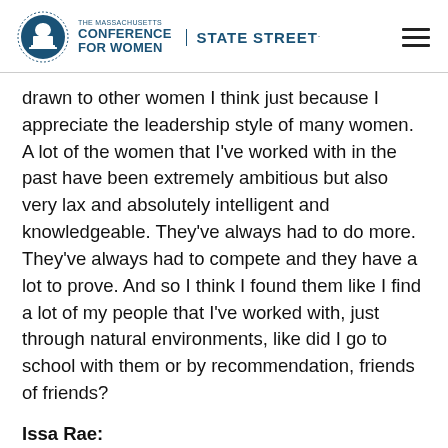The Massachusetts Conference for Women | State Street
drawn to other women I think just because I appreciate the leadership style of many women. A lot of the women that I've worked with in the past have been extremely ambitious but also very lax and absolutely intelligent and knowledgeable. They've always had to do more. They've always had to compete and they have a lot to prove. And so I think I found them like I find a lot of my people that I've worked with, just through natural environments, like did I go to school with them or by recommendation, friends of friends?
Issa Rae: But I really just seek out people who want this, who